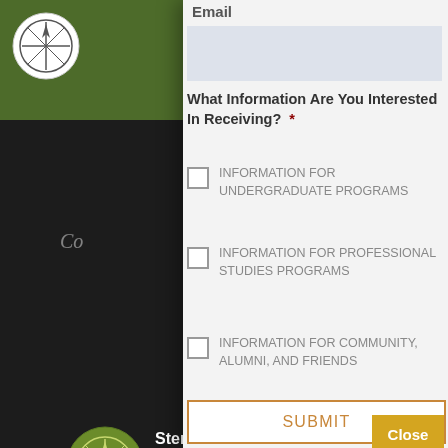[Figure (screenshot): Sterling College website background with dark navigation area, green header bar, Sterling College logo (white circle with compass rose on green background), partial text 'Co...' visible, Sterling College profile photo with green logo circle, 'Aug 10,' date, 'C...' text, 'Spotted this mor... students! We are...' text, and 'Sterling Colleg...' image text at bottom left.]
Email
What Information Are You Interested In Receiving?  *
INFORMATION FOR UNDERGRADUATE PROGRAMS
INFORMATION FOR PROFESSIONAL STUDIES PROGRAMS
INFORMATION FOR COMMUNITY, ALUMNI, AND FRIENDS
SUBMIT
Close